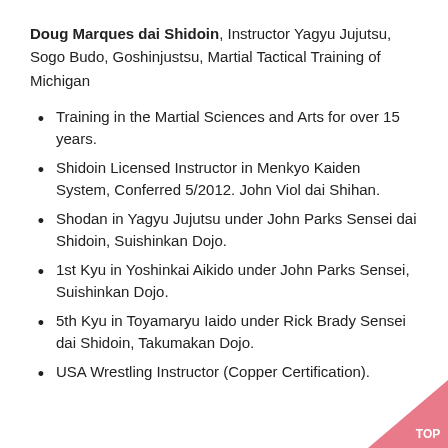Doug Marques dai Shidoin, Instructor Yagyu Jujutsu, Sogo Budo, Goshinjustsu, Martial Tactical Training of Michigan
Training in the Martial Sciences and Arts for over 15 years.
Shidoin Licensed Instructor in Menkyo Kaiden System, Conferred 5/2012. John Viol dai Shihan.
Shodan in Yagyu Jujutsu under John Parks Sensei dai Shidoin, Suishinkan Dojo.
1st Kyu in Yoshinkai Aikido under John Parks Sensei, Suishinkan Dojo.
5th Kyu in Toyamaryu Iaido under Rick Brady Sensei dai Shidoin, Takumakan Dojo.
USA Wrestling Instructor (Copper Certification).